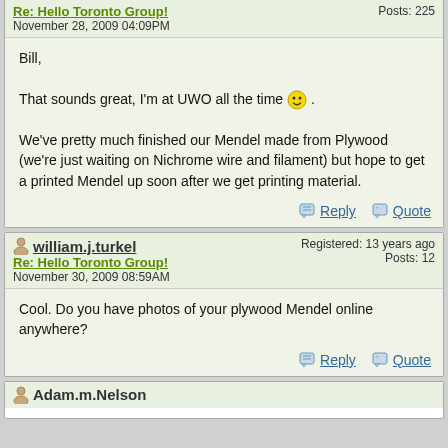Re: Hello Toronto Group!
November 28, 2009 04:09PM
Posts: 225
Bill,

That sounds great, I'm at UWO all the time :) .

We've pretty much finished our Mendel made from Plywood (we're just waiting on Nichrome wire and filament) but hope to get a printed Mendel up soon after we get printing material.
Reply  Quote
william.j.turkel
Re: Hello Toronto Group!
November 30, 2009 08:59AM
Registered: 13 years ago
Posts: 12
Cool. Do you have photos of your plywood Mendel online anywhere?
Reply  Quote
Adam.m.Nelson